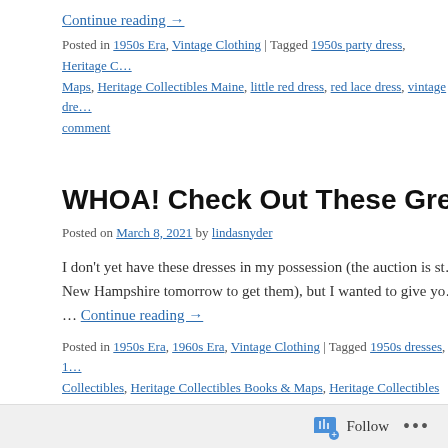Continue reading →
Posted in 1950s Era, Vintage Clothing | Tagged 1950s party dress, Heritage Collectibles Books & Maps, Heritage Collectibles Maine, little red dress, red lace dress, vintage dre… | Leave a comment
WHOA! Check Out These Great Vintage D…
Posted on March 8, 2021 by lindasnyder
I don't yet have these dresses in my possession (the auction is st… New Hampshire tomorrow to get them), but I wanted to give yo… … Continue reading →
Posted in 1950s Era, 1960s Era, Vintage Clothing | Tagged 1950s dresses, 1… Collectibles, Heritage Collectibles Books & Maps, Heritage Collectibles Maine… dress, vintage dresses | Leave a comment
SOLD! Ceramic Bouncing Leopard Lamp…
Follow